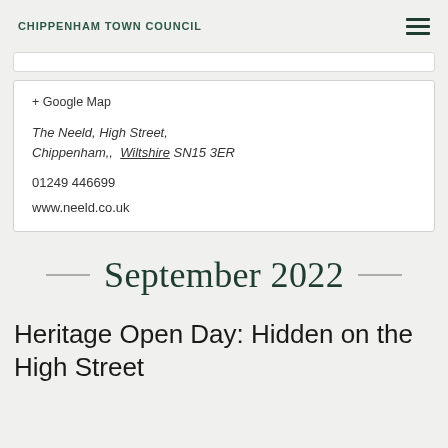CHIPPENHAM TOWN COUNCIL
+ Google Map

The Neeld, High Street, Chippenham,, Wiltshire SN15 3ER

01249 446699

www.neeld.co.uk
September 2022
Heritage Open Day: Hidden on the High Street